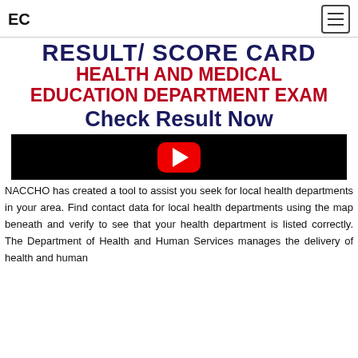EC
RESULT/ SCORE CARD
HEALTH AND MEDICAL EDUCATION DEPARTMENT EXAM
Check Result Now
[Figure (screenshot): YouTube video thumbnail with black background and red play button overlay showing health and medical education department exam result/score card video]
NACCHO has created a tool to assist you seek for local health departments in your area. Find contact data for local health departments using the map beneath and verify to see that your health department is listed correctly. The Department of Health and Human Services manages the delivery of health and human